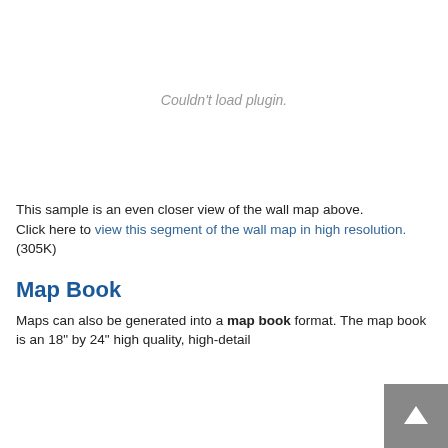[Figure (other): Plugin area showing 'Couldn't load plugin.' message — embedded map segment viewer]
This sample is an even closer view of the wall map above.
Click here to view this segment of the wall map in high resolution. (305K)
Map Book
Maps can also be generated into a map book format. The map book is an 18" by 24" high quality, high-detail